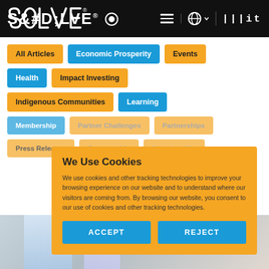SOLVE® MIT
All Articles
Economic Prosperity
Events
Health
Impact Investing
Indigenous Communities
Learning
Membership
Partner Challenges
Partnerships
Press Releases
Sponsorship
Sustainability
We Use Cookies
We use cookies and other tracking technologies to improve your browsing experience on our website and to understand where our visitors are coming from. By browsing our website, you consent to our use of cookies and other tracking technologies.
ACCEPT
REJECT
[Figure (screenshot): Bottom portion of a webpage with a blurred photo]